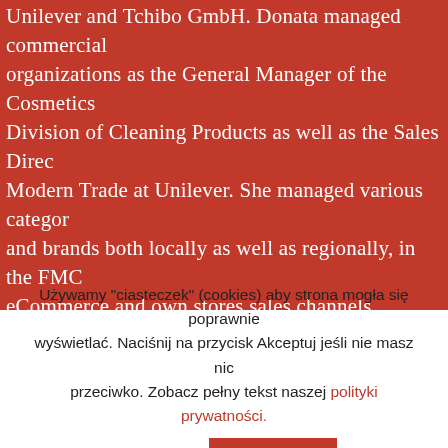Unilever and Tchibo GmbH. Donata managed commercial organizations as the General Manager of the Cosmetics Division of Cleaning Products as well as the Sales Director Modern Trade at Unilever. She managed various categories and brands both locally as well as regionally, in the FMC eCommerce and own stores sales channels. Her career began at a Unilever factory with production planning and logistics responsibilities. Donata Wolińska collaborated with Professor Dr. Rafał Ohme in the field of biometric neuromarketing research conducted, among ot for the American Advertising Association. She holds an advisory function on supervisory boards. Donata Wolińs graduate of a University of Economics. She also complet post-graduate doctoral studies at the Warsaw School of
Używamy "ciasteczek" (cookies) aby strona mogła się poprawnie wyświetlać. Naciśnij na przycisk Akceptuj jeśli nie masz nic przeciwko. Zobacz pełny tekst naszej polityki prywatności.
Ustawienia
AKCEPTUJ